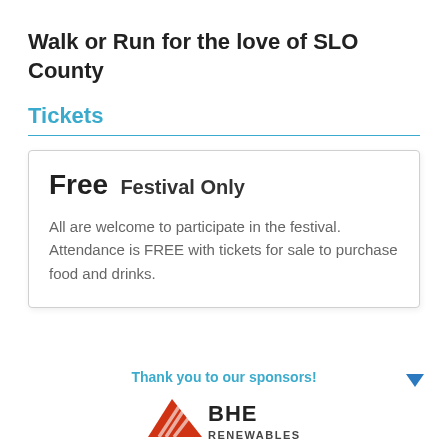Walk or Run for the love of SLO County
Tickets
Free  Festival Only
All are welcome to participate in the festival. Attendance is FREE with tickets for sale to purchase food and drinks.
Thank you to our sponsors!
[Figure (logo): BHE Renewables logo with red triangle and company name]